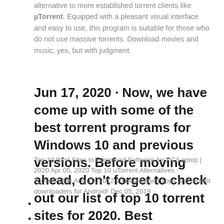alternative to more established torrent clients like µTorrent. Equipped with a pleasant visual interface and easy to use, this program is suitable for those who do not use massive torrents. Download movies and music, yes, but with judgment.
Jun 17, 2020 · Now, we have come up with some of the best torrent programs for Windows 10 and previous versions. Before moving ahead, don't forget to check out our list of top 10 torrent sites for 2020. Best
Top 10 Best Sites to Download Software for PC/Laptop | 2020 Apr 05, 2020 Top 10 uTorrent Alternatives · TorrentFreak Aug 19, 2012 10 best torrent apps and torrent downloaders for Android! Dec 05, 2019